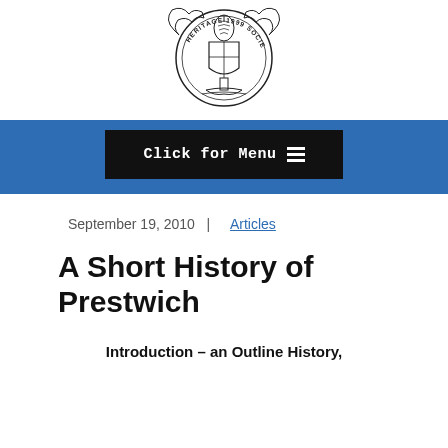[Figure (logo): Heritage Society circular emblem/crest with text 'HERITAGE 1999 SOCIETY' and decorative imagery]
Click for Menu ≡
September 19, 2010  |  Articles
A Short History of Prestwich
Introduction – an Outline History,